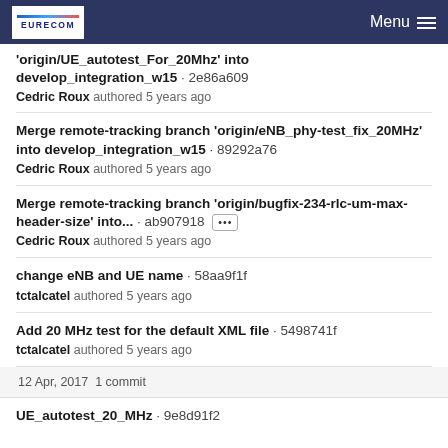EURECOM | Menu
'origin/UE_autotest_For_20Mhz' into develop_integration_w15 · 2e86a609
Cedric Roux authored 5 years ago
Merge remote-tracking branch 'origin/eNB_phy-test_fix_20MHz' into develop_integration_w15 · 89292a76
Cedric Roux authored 5 years ago
Merge remote-tracking branch 'origin/bugfix-234-rlc-um-max-header-size' into... · ab907918 [...]
Cedric Roux authored 5 years ago
change eNB and UE name · 58aa9f1f
tctalcatel authored 5 years ago
Add 20 MHz test for the default XML file · 5498741f
tctalcatel authored 5 years ago
12 Apr, 2017 1 commit
UE_autotest_20_MHz · 9e8d91f2